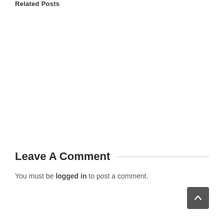Related Posts
Leave A Comment
You must be logged in to post a comment.